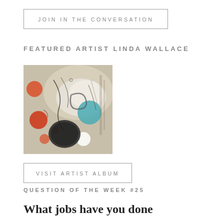JOIN IN THE CONVERSATION
FEATURED ARTIST LINDA WALLACE
[Figure (photo): Abstract painting by Linda Wallace featuring colorful circles (red/orange and teal/blue) on a beige/tan background with black gestural marks and a dark spherical form]
VISIT ARTIST ALBUM
QUESTION OF THE WEEK #25
What jobs have you done